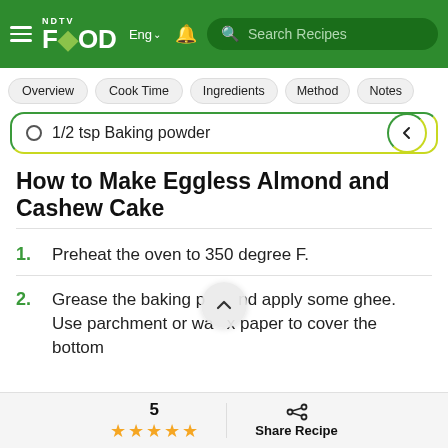NDTV Food – Eng – Search Recipes
Overview
Cook Time
Ingredients
Method
Notes
1/2 tsp Baking powder
How to Make Eggless Almond and Cashew Cake
1. Preheat the oven to 350 degree F.
2. Grease the baking pan and apply some ghee. Use parchment or wax paper to cover the bottom
5 ★★★★★   Share Recipe